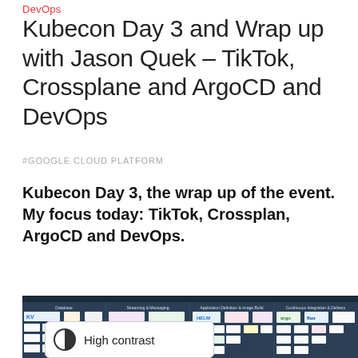DevOps
Kubecon Day 3 and Wrap up with Jason Quek – TikTok, Crossplane and ArgoCD and DevOps
#GOOGLE CLOUD PLATFORM
Kubecon Day 3, the wrap up of the event. My focus today: TikTok, Crossplan, ArgoCD and DevOps.
[Figure (screenshot): Screenshot of a cloud-native landscape or CNCF landscape chart showing various tools organized by category including Database, Streaming & Messaging, Application Definition & Image Build, and Continuous Integration & Delivery. A High contrast accessibility button overlay is visible in the bottom-left corner.]